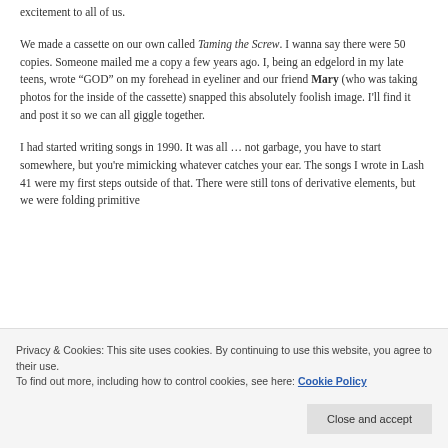excitement to all of us.
We made a cassette on our own called Taming the Screw. I wanna say there were 50 copies. Someone mailed me a copy a few years ago. I, being an edgelord in my late teens, wrote “GOD” on my forehead in eyeliner and our friend Mary (who was taking photos for the inside of the cassette) snapped this absolutely foolish image. I'll find it and post it so we can all giggle together.
I had started writing songs in 1990. It was all … not garbage, you have to start somewhere, but you're mimicking whatever catches your ear. The songs I wrote in Lash 41 were my first steps outside of that. There were still tons of derivative elements, but we were folding primitive
Privacy & Cookies: This site uses cookies. By continuing to use this website, you agree to their use.
To find out more, including how to control cookies, see here: Cookie Policy
Close and accept